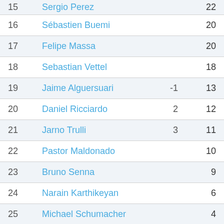| Pos | Name | Adj | Pts |
| --- | --- | --- | --- |
| 15 | Sergio Perez |  | 22 |
| 16 | Sébastien Buemi |  | 20 |
| 17 | Felipe Massa |  | 20 |
| 18 | Sebastian Vettel |  | 18 |
| 19 | Jaime Alguersuari | -1 | 13 |
| 20 | Daniel Ricciardo | 2 | 12 |
| 21 | Jarno Trulli | 3 | 11 |
| 22 | Pastor Maldonado |  | 10 |
| 23 | Bruno Senna |  | 9 |
| 24 | Narain Karthikeyan |  | 6 |
| 25 | Michael Schumacher |  | 4 |
| 26 | Vitantonio Liuzzi |  | 4 |
| 27 | Nico Hülkenberg |  | 2 |
| 28 | Robert Kubica |  | 2 |
| 29 | Davide Valsecchi |  | 2 |
| 30 | Pedro de la Rosa |  | 0 |